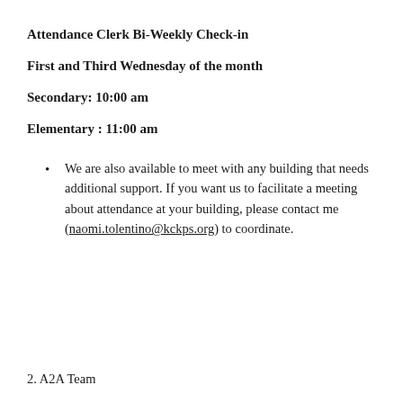Attendance Clerk Bi-Weekly Check-in
First and Third Wednesday of the month
Secondary: 10:00 am
Elementary : 11:00 am
We are also available to meet with any building that needs additional support. If you want us to facilitate a meeting about attendance at your building, please contact me (naomi.tolentino@kckps.org) to coordinate.
2. A2A Team